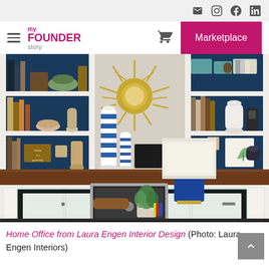myFounderStory — navigation bar with mail, instagram, facebook, linkedin icons, hamburger menu, cart, and Marketplace button
[Figure (photo): Interior home office photo showing a glass desk with a MacBook laptop, a blue cylindrical table lamp with white shade, a small potted plant, white built-in shelving units with dark blue backing, decorated with blue-and-white striped vases, books, and decorative items, and a starburst gold mirror on the wall.]
Home Office from Laura Engen Interior Design (Photo: Laura Engen Interiors)